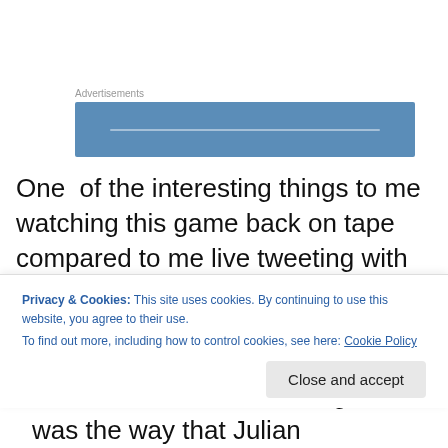[Figure (other): Advertisement banner box with blue background]
One  of the interesting things to me watching this game back on tape compared to me live tweeting with Dan during the game, is I remember a period of the game where I was worried about the Patriots getting away from the run, which seemed odd as whilst they were having problems sustaining long drives, they were successful
Privacy & Cookies: This site uses cookies. By continuing to use this website, you agree to their use.
To find out more, including how to control cookies, see here: Cookie Policy
one of the features of this game was the way that Julian